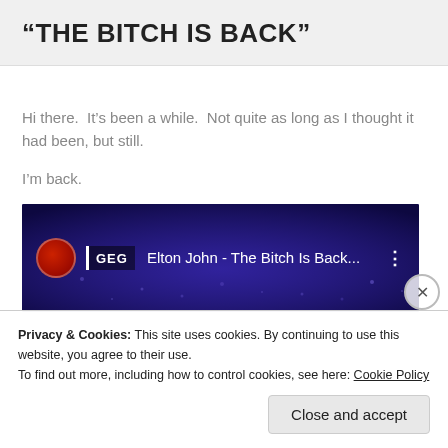“THE BITCH IS BACK”
Hi there.  It’s been a while.  Not quite as long as I thought it had been, but still.
I’m back.
[Figure (screenshot): YouTube video thumbnail showing 'GEG' channel icon and title 'Elton John - The Bitch Is Back...' with three-dot menu icon, dark purple concert crowd background]
Privacy & Cookies: This site uses cookies. By continuing to use this website, you agree to their use.
To find out more, including how to control cookies, see here: Cookie Policy
Close and accept